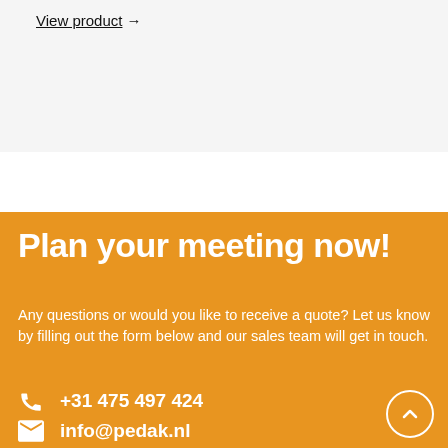View product →
Plan your meeting now!
Any questions or would you like to receive a quote? Let us know by filling out the form below and our sales team will get in touch.
+31 475 497 424
info@pedak.nl